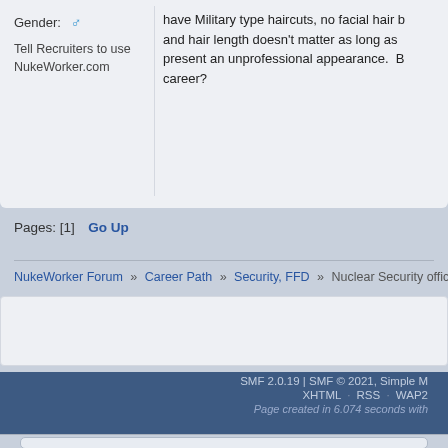Gender: ♂
Tell Recruiters to use NukeWorker.com
have Military type haircuts, no facial hair b... and hair length doesn't matter as long as present an unprofessional appearance. B... career?
Pages: [1]   Go Up
NukeWorker Forum » Career Path » Security, FFD » Nuclear Security officers and beard...
SMF 2.0.19 | SMF © 2021, Simple XHTML · RSS · WAP2 Page created in 6.074 seconds with...